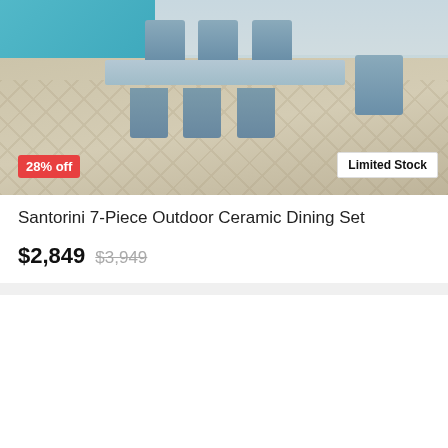[Figure (photo): Outdoor ceramic dining set with white metal frame chairs with blue-grey cushions arranged around a rectangular table on a herringbone wood-look patio near a pool. Badges show '28% off' (red, bottom left) and 'Limited Stock' (white, bottom right).]
Santorini 7-Piece Outdoor Ceramic Dining Set
$2,849 $3,949
[Figure (photo): Dark/black rectangular outdoor dining table photographed against a coastal backdrop with sea and sky. A white heart icon appears top right. A chat bubble reads 'Got a question? We're here to help!' with a beige circular chat button to the right.]